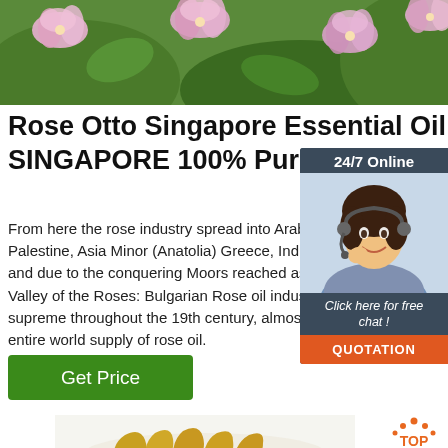[Figure (photo): Close-up photo of pink and white flowers with green foliage background]
Rose Otto Singapore Essential Oil - SINGAPORE 100% Pure ...
From here the rose industry spread into Arabia, Palestine, Asia Minor (Anatolia) Greece, India, N and due to the conquering Moors reached as far Valley of the Roses: Bulgarian Rose oil industry r supreme throughout the 19th century, almost mo entire world supply of rose oil.
[Figure (infographic): 24/7 Online chat widget with photo of smiling woman with headset, 'Click here for free chat!' text, and orange QUOTATION button]
[Figure (other): Green Get Price button]
[Figure (photo): Photo of turmeric roots/fingers on white background]
[Figure (logo): TOP logo with orange dots above letters]